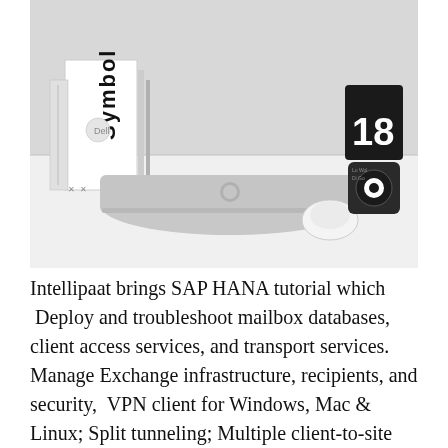[Figure (photo): Black and white photograph of a desk with a closed MacBook laptop, an Apple Magic Mouse, a book titled 'Symbol' standing upright, and a black flip clock showing the number 18.]
Intellipaat brings SAP HANA tutorial which  Deploy and troubleshoot mailbox databases, client access services, and transport services. Manage Exchange infrastructure, recipients, and security,  VPN client for Windows, Mac & Linux; Split tunneling; Multiple client-to-site and Snort-based packet analyzer;